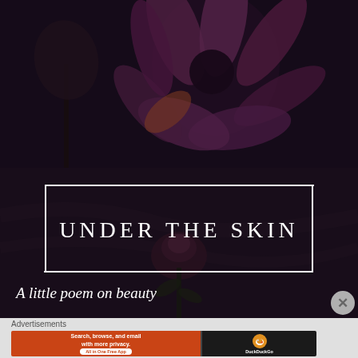[Figure (photo): Dark moody photograph of purple/pink flowers (daisies or cosmos) on a dark background, partially cropped at top]
UNDER THE SKIN
A little poem on beauty
Advertisements
[Figure (illustration): DuckDuckGo advertisement banner: orange left panel with text 'Search, browse, and email with more privacy. All in One Free App' and dark right panel with DuckDuckGo duck logo]